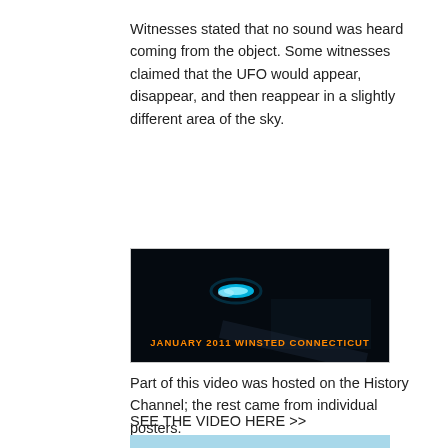Witnesses stated that no sound was heard coming from the object. Some witnesses claimed that the UFO would appear, disappear, and then reappear in a slightly different area of the sky.
[Figure (photo): Dark night sky photo with a glowing arc-shaped blue-white light object. Text overlay at bottom reads: JANUARY 2011 WINSTED CONNECTICUT in orange bold letters.]
Part of this video was hosted on the History Channel; the rest came from individual posters.
SEE THE VIDEO HERE >> https://youtu.be/kMjE-MzoYXU